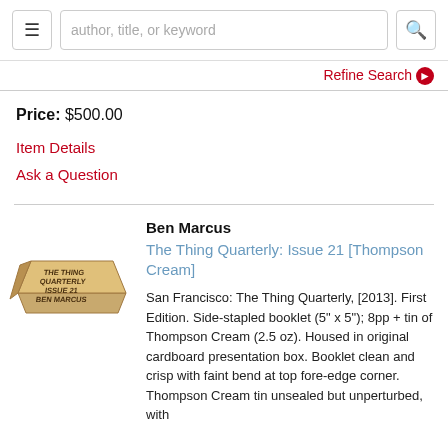author, title, or keyword [search bar with menu and search buttons]
Refine Search
Price: $500.00
Item Details
Ask a Question
[Figure (photo): A tan/kraft cardboard box labeled: THE THING QUARTERLY / ISSUE 21 / BEN MARCUS]
Ben Marcus
The Thing Quarterly: Issue 21 [Thompson Cream]
San Francisco: The Thing Quarterly, [2013]. First Edition. Side-stapled booklet (5" x 5"); 8pp + tin of Thompson Cream (2.5 oz). Housed in original cardboard presentation box. Booklet clean and crisp with faint bend at top fore-edge corner. Thompson Cream tin unsealed but unperturbed, with